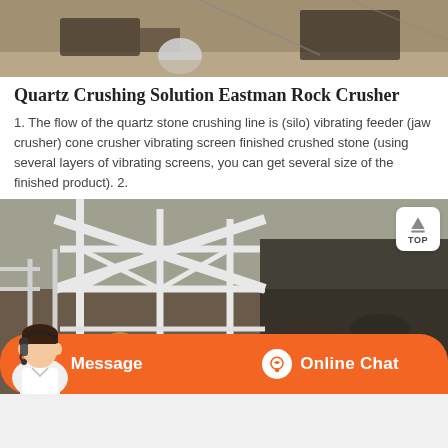[Figure (photo): Top partial view of a quartz stone crushing machine/equipment outdoors on a construction or quarry site]
Quartz Crushing Solution Eastman Rock Crusher
1. The flow of the quartz stone crushing line is (silo) vibrating feeder (jaw crusher) cone crusher vibrating screen finished crushed stone (using several layers of vibrating screens, you can get several size of the finished product). 2.
[Figure (photo): Industrial metal frame structure with conveyor belts and machinery at a quarry or crushing plant site]
Message
Online Chat